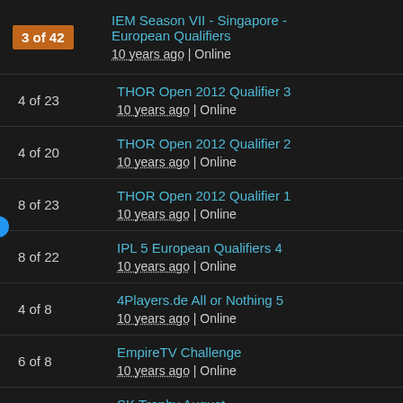3 of 42 | IEM Season VII - Singapore - European Qualifiers | 10 years ago | Online
4 of 23 | THOR Open 2012 Qualifier 3 | 10 years ago | Online
4 of 20 | THOR Open 2012 Qualifier 2 | 10 years ago | Online
8 of 23 | THOR Open 2012 Qualifier 1 | 10 years ago | Online
8 of 22 | IPL 5 European Qualifiers 4 | 10 years ago | Online
4 of 8 | 4Players.de All or Nothing 5 | 10 years ago | Online
6 of 8 | EmpireTV Challenge | 10 years ago | Online
8 of 14 | SK Trophy August | 10 years ago | Online